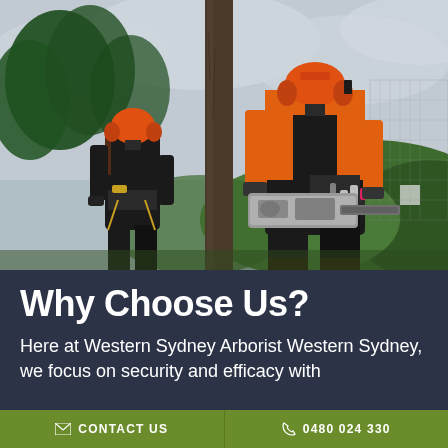[Figure (photo): Two arborists wearing orange helmets and black safety gear, one holding a chainsaw, standing near a large tree with green forested hills in the background]
Why Choose Us?
Here at Western Sydney Arborist Western Sydney, we focus on security and efficacy with
✉ CONTACT US   ☎ 0480 024 330